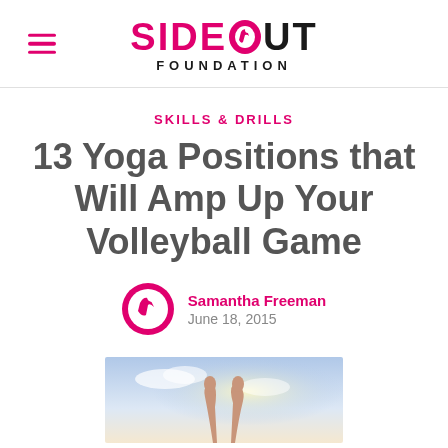SIDE OUT FOUNDATION
SKILLS & DRILLS
13 Yoga Positions that Will Amp Up Your Volleyball Game
Samantha Freeman
June 18, 2015
[Figure (photo): Person with arms raised upward against a bright sky background]